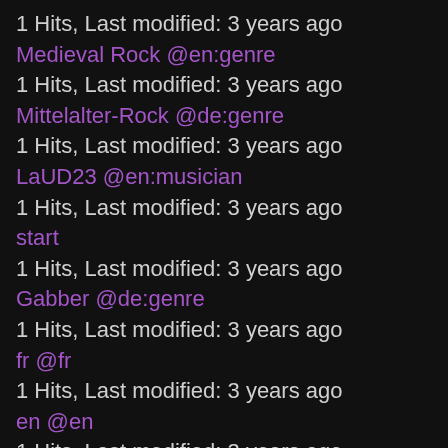1 Hits, Last modified: 3 years ago
Medieval Rock @en:genre
1 Hits, Last modified: 3 years ago
Mittelalter-Rock @de:genre
1 Hits, Last modified: 3 years ago
LaUD23 @en:musician
1 Hits, Last modified: 3 years ago
start
1 Hits, Last modified: 3 years ago
Gabber @de:genre
1 Hits, Last modified: 3 years ago
fr @fr
1 Hits, Last modified: 3 years ago
en @en
1 Hits, Last modified: 3 years ago
de @de
1 Hits, Last modified: 3 years ago
sidebar @s...